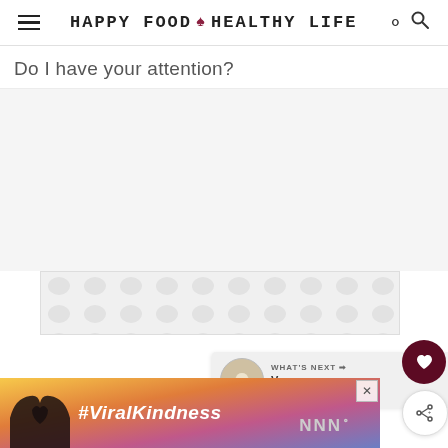HAPPY FOOD ♥ HEALTHY LIFE
Do I have your attention?
[Figure (other): Large advertisement placeholder area with light gray background]
[Figure (other): Content ad strip with polka-dot pattern background]
[Figure (other): WHAT'S NEXT panel with food thumbnail and 'Vegan "Chicken"...' text]
[Figure (other): Advertisement banner with heart hands silhouette and #ViralKindness text]